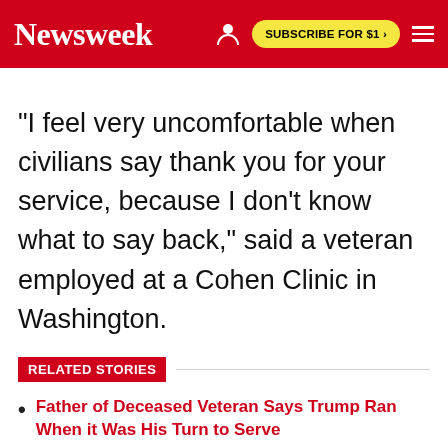Newsweek | SUBSCRIBE FOR $1 >
"I feel very uncomfortable when civilians say thank you for your service, because I don't know what to say back," said a veteran employed at a Cohen Clinic in Washington.
RELATED STORIES
Father of Deceased Veteran Says Trump Ran When it Was His Turn to Serve
The Veterans Day Google Doodle is a Painting by an Iraq War Veteran